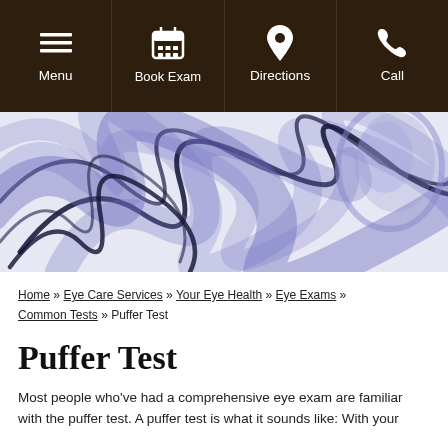[Figure (screenshot): Dark brown navigation bar with four items: Menu (hamburger icon), Book Exam (calendar icon), Directions (location pin icon), Call (phone icon), all with white icons and text on dark brown background.]
[Figure (photo): Abstract blue and white smoke swirls with dark outlines, resembling flowing fabric or smoke against a white background.]
Home » Eye Care Services » Your Eye Health » Eye Exams » Common Tests » Puffer Test
Puffer Test
Most people who've had a comprehensive eye exam are familiar with the puffer test. A puffer test is what it sounds like: With your